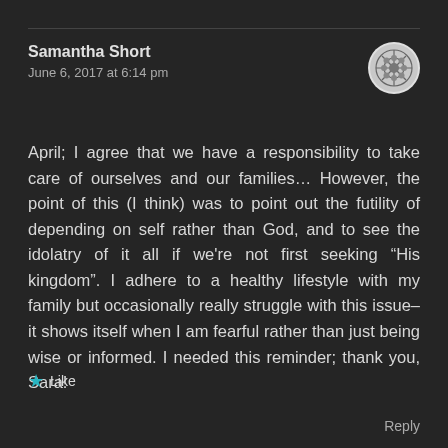Samantha Short
June 6, 2017 at 6:14 pm
April; I agree that we have a responsibility to take care of ourselves and our families... However, the point of this (I think) was to point out the futility of depending on self rather than God, and to see the idolatry of it all if we're not first seeking “His kingdom”. I adhere to a healthy lifestyle with my family but occasionally really struggle with this issue– it shows itself when I am fearful rather than just being wise or informed. I needed this reminder; thank you, Sara!
★ Like
Reply